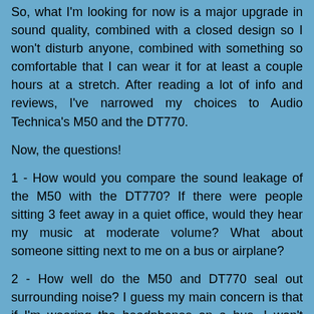So, what I'm looking for now is a major upgrade in sound quality, combined with a closed design so I won't disturb anyone, combined with something so comfortable that I can wear it for at least a couple hours at a stretch. After reading a lot of info and reviews, I've narrowed my choices to Audio Technica's M50 and the DT770.
Now, the questions!
1 - How would you compare the sound leakage of the M50 with the DT770? If there were people sitting 3 feet away in a quiet office, would they hear my music at moderate volume? What about someone sitting next to me on a bus or airplane?
2 - How well do the M50 and DT770 seal out surrounding noise? I guess my main concern is that if I'm wearing the headphones on a bus, I won't need to blast the volume. I know these are not noise-cancelling headphones, but I'm hoping since they are closed and circumaural that will at least help with this problem?
3 - Do you agree that in my case, the 32 ohm version of